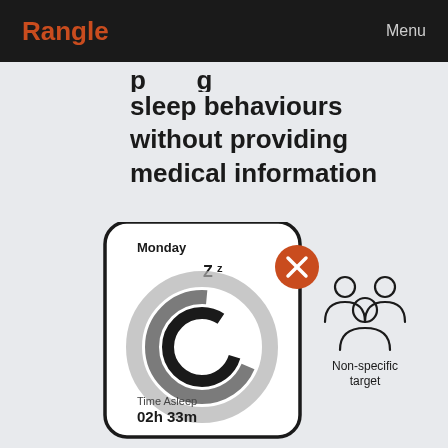Rangle  Menu
sleep behaviours without providing medical information
[Figure (infographic): Smartphone screen mockup showing a sleep tracking app with Monday label, concentric ring progress indicators in dark and grey, a Zz sleep icon, a red X close button, and text showing Time Asleep 02h 33m. Beside it is a people icon group labeled Non-specific target.]